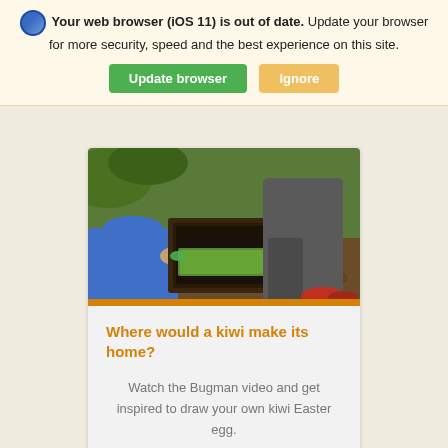Your web browser (iOS 11) is out of date. Update your browser for more security, speed and the best experience on this site.
Update browser | Ignore
[Figure (photo): Photo of people outdoors handling a wooden box or trap, likely in a nature/conservation setting. Multiple people visible, wearing casual outdoor clothing.]
Where would a kiwi make its home?
Watch the Bugman video and get inspired to draw your own kiwi Easter egg.
Go to